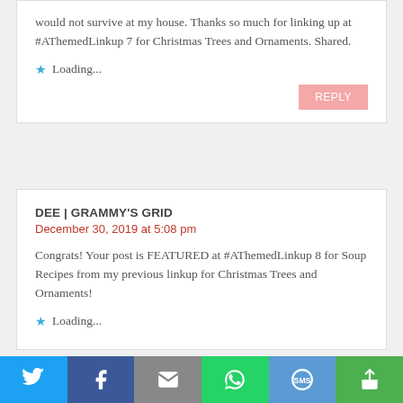would not survive at my house. Thanks so much for linking up at #AThemedLinkup 7 for Christmas Trees and Ornaments. Shared.
Loading...
REPLY
DEE | GRAMMY'S GRID
December 30, 2019 at 5:08 pm
Congrats! Your post is FEATURED at #AThemedLinkup 8 for Soup Recipes from my previous linkup for Christmas Trees and Ornaments!
Loading...